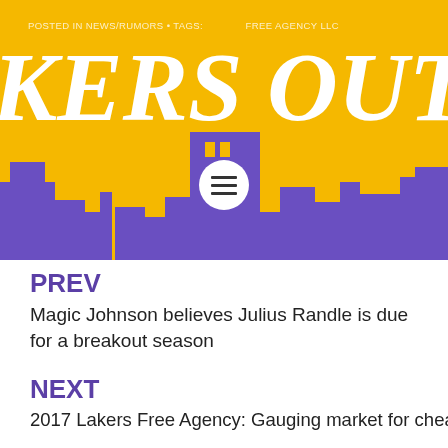POSTED IN NEWS/RUMORS • TAGS: ... FREE AGENCY LLC
KERS OUTSIDE
[Figure (illustration): Purple cityscape silhouette with buildings against yellow/gold background, with a white circle containing a hamburger menu icon overlaid in the center]
PREV
Magic Johnson believes Julius Randle is due for a breakout season
NEXT
2017 Lakers Free Agency: Gauging market for cheap signings
ONE THOUGHT